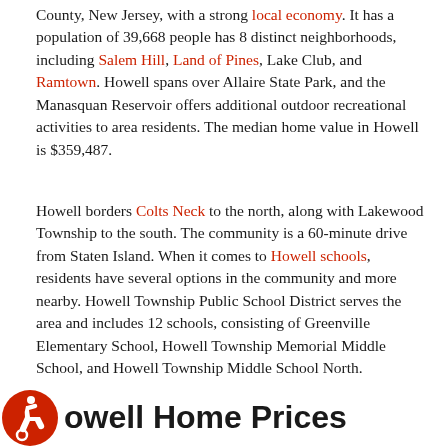County, New Jersey, with a strong local economy. It has a population of 39,668 people has 8 distinct neighborhoods, including Salem Hill, Land of Pines, Lake Club, and Ramtown. Howell spans over Allaire State Park, and the Manasquan Reservoir offers additional outdoor recreational activities to area residents. The median home value in Howell is $359,487.
Howell borders Colts Neck to the north, along with Lakewood Township to the south. The community is a 60-minute drive from Staten Island. When it comes to Howell schools, residents have several options in the community and more nearby. Howell Township Public School District serves the area and includes 12 schools, consisting of Greenville Elementary School, Howell Township Memorial Middle School, and Howell Township Middle School North.
Howell Home Prices